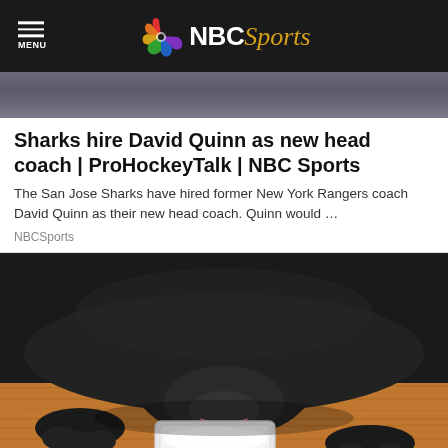NBC Sports
[Figure (photo): Partial photo of a person in suit and tie, cropped at top of page]
Sharks hire David Quinn as new head coach | ProHockeyTalk | NBC Sports
The San Jose Sharks have hired former New York Rangers coach David Quinn as their new head coach. Quinn would …
NBCSports
[Figure (photo): Black dog licking from a small white square bowl on a wooden floor]